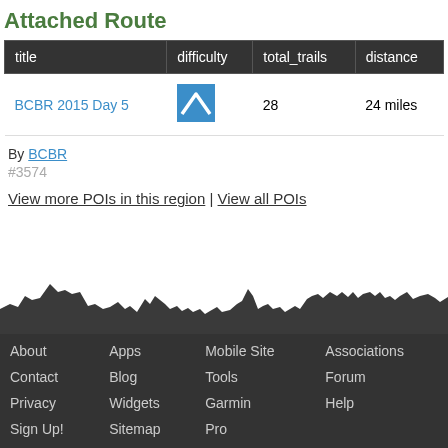Attached Route
| title | difficulty | total_trails | distance |
| --- | --- | --- | --- |
| BCBR 2015 Day 5 | [blue mountain icon] | 28 | 24 miles |
By BCBR
#3574
View more POIs in this region | View all POIs
[Figure (illustration): Mountain silhouette landscape background for footer]
About  Apps  Mobile Site  Associations  Contact  Blog  Tools  Forum  Privacy  Widgets  Garmin  Help  Sign Up!  Sitemap  Pro